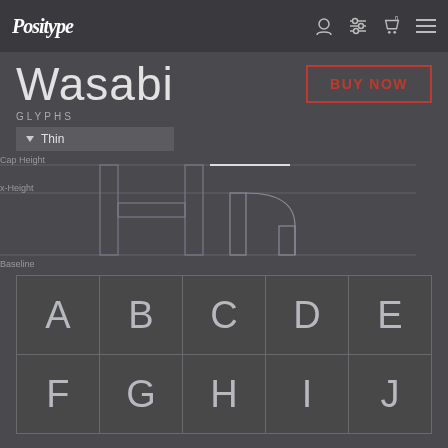Positype
Wasabi
BUY NOW
GLYPHS
▼ Thin
Cap Height
x-Height
Baseline
[Figure (illustration): Thin weight H and n glyphs displayed with Cap Height, x-Height and Baseline guide lines]
| A | B | C | D | E |
| F | G | H | I | J |